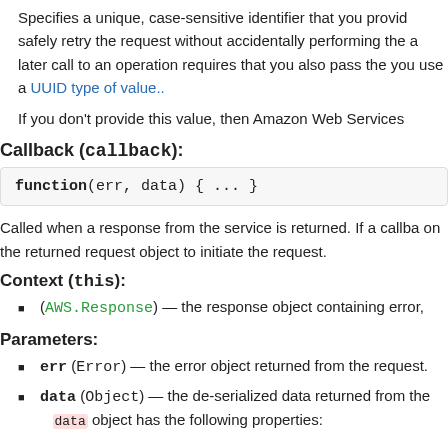Specifies a unique, case-sensitive identifier that you provide to safely retry the request without accidentally performing the same action twice. If a later call to an operation requires that you also pass the same ClientToken, you use a UUID type of value..
If you don't provide this value, then Amazon Web Services
Callback (callback):
function(err, data) { ... }
Called when a response from the service is returned. If a callback is not supplied, you must call .send() on the returned request object to initiate the request.
Context (this):
(AWS.Response) — the response object containing error,
Parameters:
err (Error) — the error object returned from the request.
data (Object) — the de-serialized data returned from the data object has the following properties: